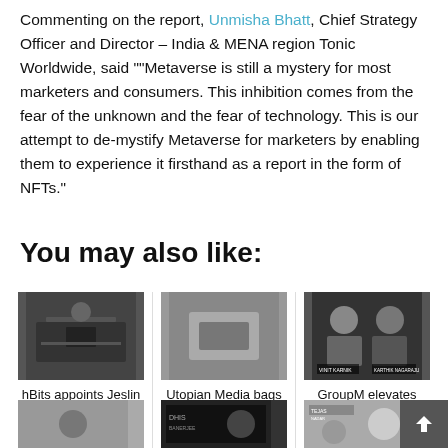Commenting on the report, Unmisha Bhatt, Chief Strategy Officer and Director – India & MENA region Tonic Worldwide, said ""Metaverse is still a mystery for most marketers and consumers. This inhibition comes from the fear of the unknown and the fear of technology. This is our attempt to de-mystify Metaverse for marketers by enabling them to experience it firsthand as a report in the form of NFTs."
You may also like:
[Figure (photo): Person at desk with laptop, dark background]
hBits appoints Jeslin George as Senior Vice President Digital...
[Figure (photo): No image shown for middle card]
Utopian Media bags digital mandate for Italian
[Figure (photo): Two men portraits with name labels: Vinit Karnik and Karthik Nagaraju]
GroupM elevates Vinit Karnik and Karthik Nagaraju...